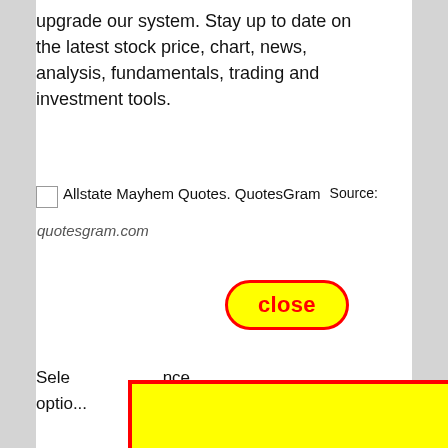upgrade our system. Stay up to date on the latest stock price, chart, news, analysis, fundamentals, trading and investment tools.
[Figure (screenshot): Broken image icon with alt text 'Allstate Mayhem Quotes. QuotesGram' followed by 'Source: quotesgram.com']
[Figure (other): A 'close' button styled with red rounded border and yellow background, overlaying a large yellow rectangle with red border covering the lower portion of the page]
Sele... nce optio...
[Figure (screenshot): Gray bar with partial text and large number visible, partially obscured by yellow overlay]